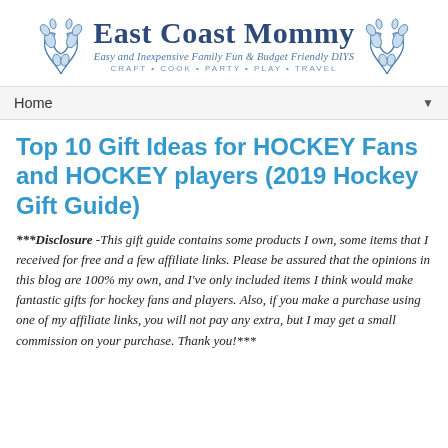[Figure (logo): East Coast Mommy blog logo with decorative leaf branches on each side, subtitle 'Easy and Inexpensive Family Fun & Budget Friendly DIYS', tagline 'CRAFT • COOK • PARTY • PLAY • TRAVEL']
Home ▼
Top 10 Gift Ideas for HOCKEY Fans and HOCKEY players (2019 Hockey Gift Guide)
***Disclosure -This gift guide contains some products I own, some items that I received for free and a few affiliate links. Please be assured that the opinions in this blog are 100% my own, and I've only included items I think would make fantastic gifts for hockey fans and players. Also, if you make a purchase using one of my affiliate links, you will not pay any extra, but I may get a small commission on your purchase. Thank you!***